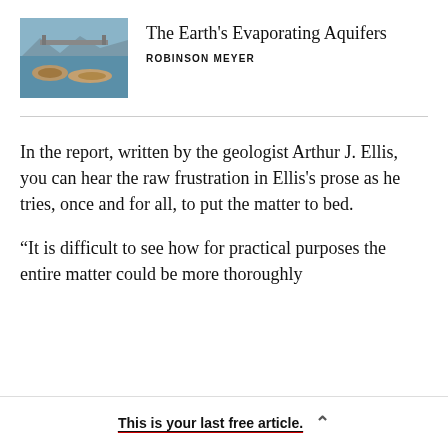[Figure (photo): Thumbnail photo of a reservoir with low water levels, showing a bridge in the background and exposed dry land/islands due to drought.]
The Earth's Evaporating Aquifers
ROBINSON MEYER
In the report, written by the geologist Arthur J. Ellis, you can hear the raw frustration in Ellis's prose as he tries, once and for all, to put the matter to bed.
“It is difficult to see how for practical purposes the entire matter could be more thoroughly
This is your last free article.